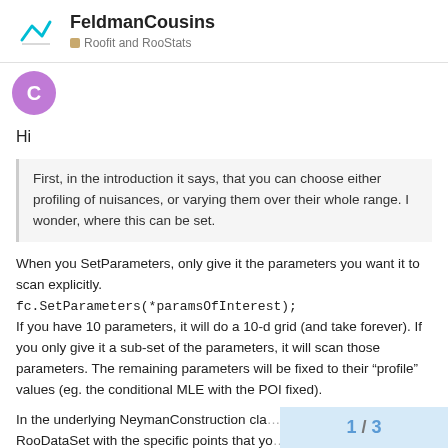FeldmanCousins — Roofit and RooStats
[Figure (logo): Root CERN logo with stylized checkmark in teal]
[Figure (illustration): Purple avatar circle with letter C]
Hi
First, in the introduction it says, that you can choose either profiling of nuisances, or varying them over their whole range. I wonder, where this can be set.
When you SetParameters, only give it the parameters you want it to scan explicitly.
fc.SetParameters(*paramsOfInterest);
If you have 10 parameters, it will do a 10-d grid (and take forever). If you only give it a sub-set of the parameters, it will scan those parameters. The remaining parameters will be fixed to their “profile” values (eg. the conditional MLE with the POI fixed).
In the underlying NeymanConstruction cla... RooDataSet with the specific points that yo...
1 / 3